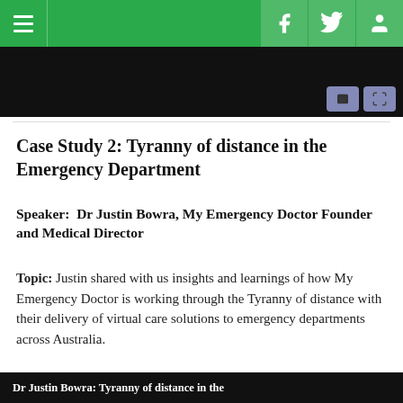Navigation bar with hamburger menu and social icons (Facebook, Twitter, User)
[Figure (screenshot): Black image strip with playback/caption control buttons]
Case Study 2: Tyranny of distance in the Emergency Department
Speaker:  Dr Justin Bowra, My Emergency Doctor Founder and Medical Director
Topic: Justin shared with us insights and learnings of how My Emergency Doctor is working through the Tyranny of distance with their delivery of virtual care solutions to emergency departments across Australia.
[Figure (screenshot): Bottom black banner strip with partial white text about Dr Justin Bowra and Tyranny of distance]